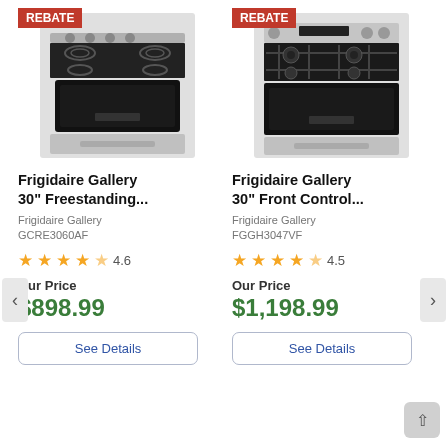[Figure (photo): Frigidaire Gallery freestanding electric range with REBATE badge]
[Figure (photo): Frigidaire Gallery front control gas range with REBATE badge]
Frigidaire Gallery 30" Freestanding...
Frigidaire Gallery 30" Front Control...
Frigidaire Gallery
GCRE3060AF
Frigidaire Gallery
FGGH3047VF
4.6
4.5
Our Price
Our Price
$898.99
$1,198.99
See Details
See Details